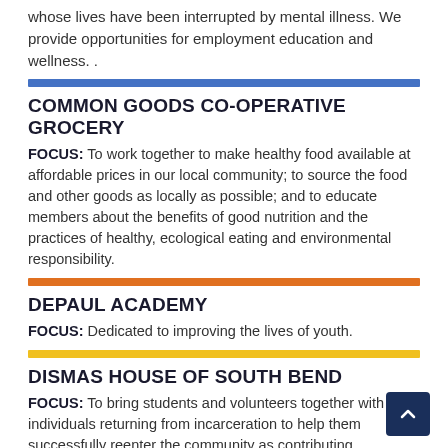whose lives have been interrupted by mental illness. We provide opportunities for employment education and wellness. .
COMMON GOODS CO-OPERATIVE GROCERY
FOCUS: To work together to make healthy food available at affordable prices in our local community; to source the food and other goods as locally as possible; and to educate members about the benefits of good nutrition and the practices of healthy, ecological eating and environmental responsibility.
DEPAUL ACADEMY
FOCUS: Dedicated to improving the lives of youth.
DISMAS HOUSE OF SOUTH BEND
FOCUS: To bring students and volunteers together with individuals returning from incarceration to help them successfully reenter the community as contributing members.
EL CAMPITO, INC. (CHILD DEVELOPMENT)
FOCUS: To promote the educational, social, and economic success...